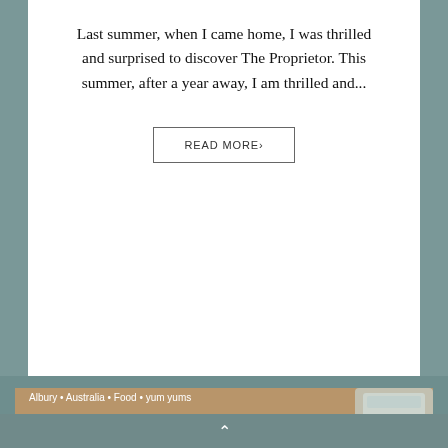Last summer, when I came home, I was thrilled and surprised to discover The Proprietor. This summer, after a year away, I am thrilled and...
READ MORE›
Albury • Australia • Food • yum yums
[Figure (photo): A cappuccino or latte art coffee in a dark navy/charcoal ceramic cup on a matching saucer, with an intricate swirled leaf/heart latte art pattern on top, placed on a wooden surface.]